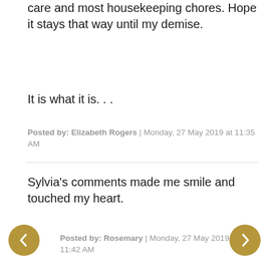care and most housekeeping chores. Hope it stays that way until my demise.
It is what it is. . .
Posted by: Elizabeth Rogers | Monday, 27 May 2019 at 11:35 AM
Sylvia's comments made me smile and touched my heart.
Posted by: Rosemary | Monday, 27 May 2019 at 11:42 AM